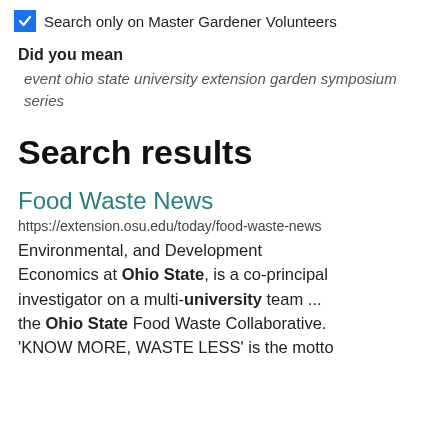Search only on Master Gardener Volunteers
Did you mean
event ohio state university extension garden symposium series
Search results
Food Waste News
https://extension.osu.edu/today/food-waste-news
Environmental, and Development Economics at Ohio State, is a co-principal investigator on a multi-university team ... the Ohio State Food Waste Collaborative. 'KNOW MORE, WASTE LESS' is the motto